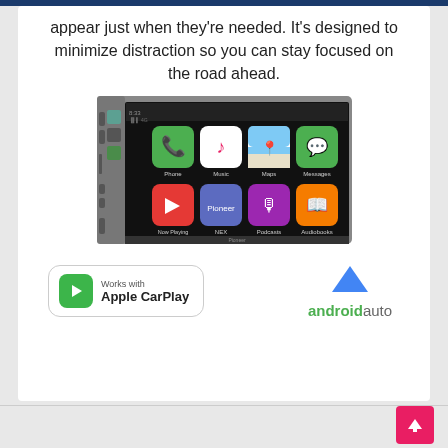appear just when they're needed. It's designed to minimize distraction so you can stay focused on the road ahead.
[Figure (screenshot): Pioneer car stereo head unit displaying Apple CarPlay interface with app icons: Phone, Music, Maps, Messages, Now Playing, NEX, Podcasts, Audiobooks. Shows time 8:33, signal bars, 4G indicator.]
[Figure (logo): Works with Apple CarPlay badge — green CarPlay icon with white play triangle, text 'Works with Apple CarPlay' inside a rounded rectangle border]
[Figure (logo): Android Auto logo — blue triangle/chevron icon above green 'androidauto' wordmark text]